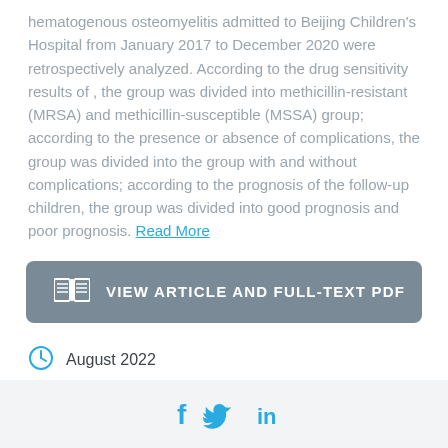hematogenous osteomyelitis admitted to Beijing Children's Hospital from January 2017 to December 2020 were retrospectively analyzed. According to the drug sensitivity results of , the group was divided into methicillin-resistant (MRSA) and methicillin-susceptible (MSSA) group; according to the presence or absence of complications, the group was divided into the group with and without complications; according to the prognosis of the follow-up children, the group was divided into good prognosis and poor prognosis. Read More
VIEW ARTICLE AND FULL-TEXT PDF
August 2022
Similar Publications
[Figure (other): Social media share icons: Facebook (f), Twitter bird, LinkedIn (in)]